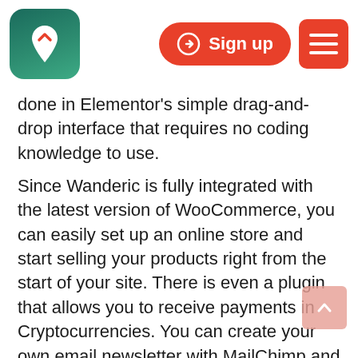[Figure (logo): Wanderic app logo: rounded square with teal/green gradient background containing a white pin/location marker with a chevron symbol inside]
[Figure (screenshot): Red rounded rectangle Sign up button with right-arrow circle icon]
[Figure (screenshot): Red square hamburger menu button with three white horizontal lines]
done in Elementor's simple drag-and-drop interface that requires no coding knowledge to use.
Since Wanderic is fully integrated with the latest version of WooCommerce, you can easily set up an online store and start selling your products right from the start of your site. There is even a plugin that allows you to receive payments in Cryptocurrencies. You can create your own email newsletter with MailChimp and give your users a way to reach you easily and directly with the Contact 7 form. Also, since the theme is integrated with all the most popular social media, your users can share your content on their own profiles, which is definitely a plus to help you get additional exposure.